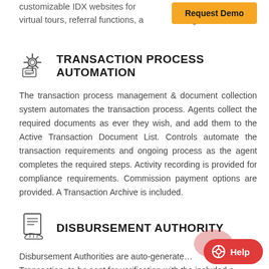customizable IDX websites for custom virtual tours, referral functions, a… ges.
[Figure (other): Request Demo orange button]
[Figure (illustration): Gear/settings icon for Transaction Process Automation section]
TRANSACTION PROCESS AUTOMATION
The transaction process management & document collection system automates the transaction process. Agents collect the required documents as ever they wish, and add them to the Active Transaction Document List. Controls automate the transaction requirements and ongoing process as the agent completes the required steps. Activity recording is provided for compliance requirements. Commission payment options are provided. A Transaction Archive is included.
[Figure (illustration): Document/disbursement icon for Disbursement Authority section]
DISBURSEMENT AUTHORITY
Disbursement Authorities are auto-generated Transaction, to be sent for verification with the included e-
[Figure (other): Red Help chat button in bottom right corner]